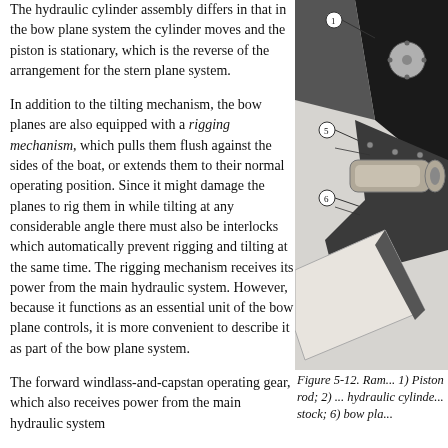The hydraulic cylinder assembly differs in that in the bow plane system the cylinder moves and the piston is stationary, which is the reverse of the arrangement for the stern plane system.
In addition to the tilting mechanism, the bow planes are also equipped with a rigging mechanism, which pulls them flush against the sides of the boat, or extends them to their normal operating position. Since it might damage the planes to rig them in while tilting at any considerable angle there must also be interlocks which automatically prevent rigging and tilting at the same time. The rigging mechanism receives its power from the main hydraulic system. However, because it functions as an essential unit of the bow plane controls, it is more convenient to describe it as part of the bow plane system.
The forward windlass-and-capstan operating gear, which also receives power from the main hydraulic system
[Figure (engineering-diagram): Diagram of a ram/bow plane assembly showing numbered components: 1) Piston rod, 2) something (cut off), 5) labeled component, 6) labeled component (bow plane stock), and the bow plane itself. Black and grey shaded technical illustration.]
Figure 5-12. Ram... 1) Piston rod; 2) ... hydraulic cylinde... stock; 6) bow pla...